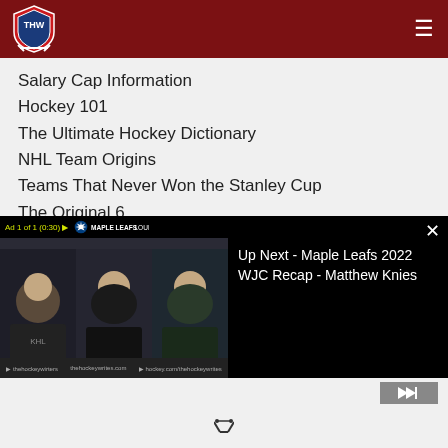THW - The Hockey Writers
Salary Cap Information
Hockey 101
The Ultimate Hockey Dictionary
NHL Team Origins
Teams That Never Won the Stanley Cup
The Original 6
Jerseys from Defunct NHL Clubs
The Gordie Howe Hat Trick
[Figure (screenshot): Video ad player overlay showing Maple Leafs Lounge ad, with 'Up Next - Maple Leafs 2022 WJC Recap - Matthew Knies' text on right side, close button, and skip button.]